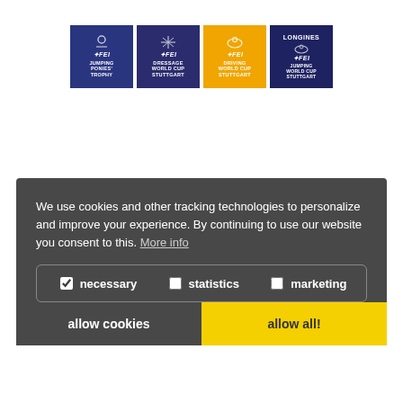[Figure (logo): Four FEI event logos: FEI Jumping Ponies Trophy (blue), FEI Dressage World Cup Stuttgart (dark blue), FEI Driving World Cup Stuttgart (gold/yellow), Longines FEI Jumping World Cup Stuttgart (dark blue)]
We use cookies and other tracking technologies to personalize and improve your experience. By continuing to use our website you consent to this. More info
necessary   statistics   marketing
allow cookies
allow all!